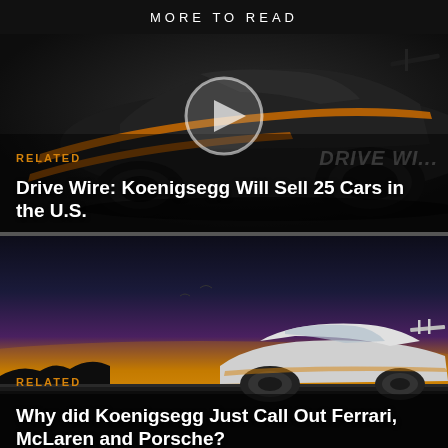MORE TO READ
[Figure (photo): Dark black supercar (Koenigsegg) with orange stripes, viewed from rear three-quarter angle, with a video play button overlay]
RELATED
Drive Wire: Koenigsegg Will Sell 25 Cars in the U.S.
[Figure (photo): White Koenigsegg supercar on a track at dusk/sunset with dramatic orange and purple sky]
RELATED
Why did Koenigsegg Just Call Out Ferrari, McLaren and Porsche?